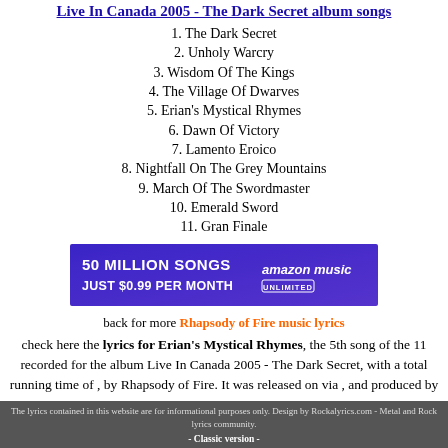Live In Canada 2005 - The Dark Secret album songs
1. The Dark Secret
2. Unholy Warcry
3. Wisdom Of The Kings
4. The Village Of Dwarves
5. Erian's Mystical Rhymes
6. Dawn Of Victory
7. Lamento Eroico
8. Nightfall On The Grey Mountains
9. March Of The Swordmaster
10. Emerald Sword
11. Gran Finale
[Figure (infographic): Amazon Music Unlimited advertisement banner: 50 MILLION SONGS JUST $0.99 PER MONTH with amazon music unlimited logo]
back for more Rhapsody of Fire music lyrics
check here the lyrics for Erian's Mystical Rhymes, the 5th song of the 11 recorded for the album Live In Canada 2005 - The Dark Secret, with a total running time of , by Rhapsody of Fire. It was released on via , and produced by .
The lyrics contained in this website are for informational purposes only. Design by Rockalyrics.com - Metal and Rock lyrics community. - Classic version -